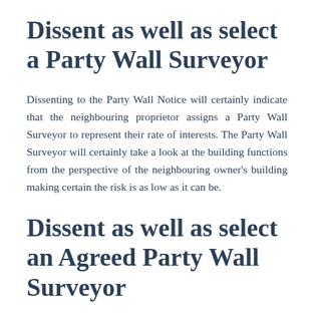Dissent as well as select a Party Wall Surveyor
Dissenting to the Party Wall Notice will certainly indicate that the neighbouring proprietor assigns a Party Wall Surveyor to represent their rate of interests. The Party Wall Surveyor will certainly take a look at the building functions from the perspective of the neighbouring owner's building making certain the risk is as low as it can be.
Dissent as well as select an Agreed Party Wall Surveyor